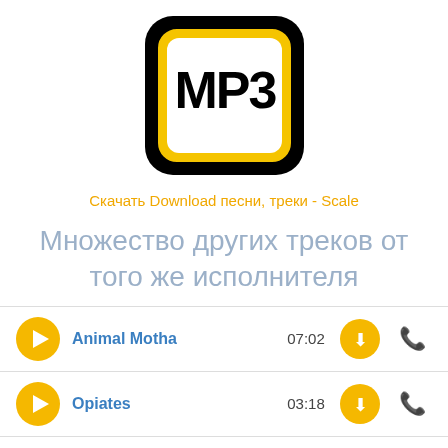[Figure (logo): MP3 file icon - black rounded rectangle with yellow inner border and white MP3 text]
Скачать Download песни, треки - Scale
Множество других треков от того же исполнителя
Animal Motha  07:02
Opiates  03:18